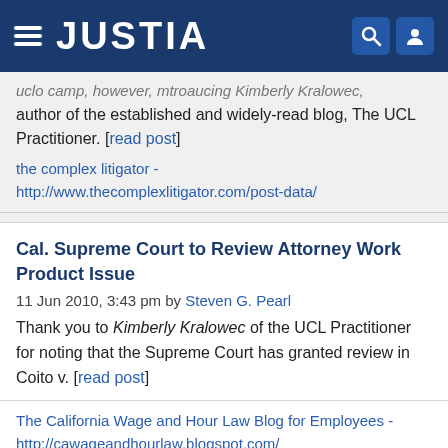JUSTIA
author of the established and widely-read blog, The UCL Practitioner. [read post]
the complex litigator - http://www.thecomplexlitigator.com/post-data/
Cal. Supreme Court to Review Attorney Work Product Issue
11 Jun 2010, 3:43 pm by Steven G. Pearl
Thank you to Kimberly Kralowec of the UCL Practitioner for noting that the Supreme Court has granted review in Coito v. [read post]
The California Wage and Hour Law Blog for Employees - http://cawageandhourlaw.blogspot.com/